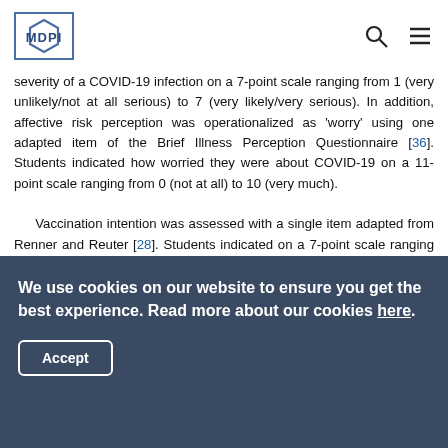MDPI
severity of a COVID-19 infection on a 7-point scale ranging from 1 (very unlikely/not at all serious) to 7 (very likely/very serious). In addition, affective risk perception was operationalized as 'worry' using one adapted item of the Brief Illness Perception Questionnaire [36]. Students indicated how worried they were about COVID-19 on a 11-point scale ranging from 0 (not at all) to 10 (very much).

Vaccination intention was assessed with a single item adapted from Renner and Reuter [28]. Students indicated on a 7-point scale ranging from 1 (definitely not) to 7 (definitely yes) to what extent they were inclined to get vaccinated against COVID-19 once the vaccine is available to them.
We use cookies on our website to ensure you get the best experience. Read more about our cookies here.
Accept